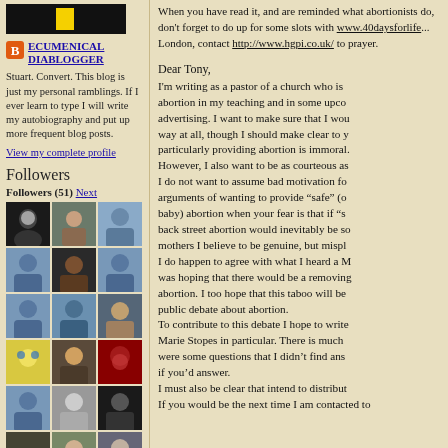[Figure (logo): Black banner logo with yellow stripe for blog]
ECUMENICAL DIABLOGGER
Stuart. Convert. This blog is just my personal ramblings. If I ever learn to type I will write my autobiography and put up more frequent blog posts.
View my complete profile
Followers
Followers (51) Next
[Figure (photo): Grid of 18 follower avatar images, mix of photos and placeholder icons]
When you have read it, and are reminded what abortionists do, don't forget to do up for some slots with www.40daysforlife... London, contact http://www.hgpi.co.uk/ to prayer.
Dear Tony,
I'm writing as a pastor of a church who is abortion in my teaching and in some upco advertising. I want to make sure that I wou way at all, though I should make clear to y particularly providing abortion is immoral. However, I also want to be as courteous as I do not want to assume bad motivation fo arguments of wanting to provide “safe” (o baby) abortion when your fear is that if “s back street abortion would inevitably be so mothers I believe to be genuine, but mispl I do happen to agree with what I heard a M was hoping that there would be a removing abortion. I too hope that this taboo will be public debate about abortion. To contribute to this debate I hope to write Marie Stopes in particular. There is much were some questions that I didn’t find ans if you’d answer. I must also be clear that intend to distribut If you would be the next time I am contacted to